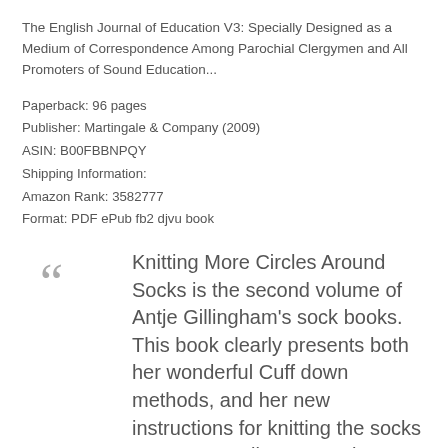The English Journal of Education V3: Specially Designed as a Medium of Correspondence Among Parochial Clergymen and All Promoters of Sound Education...
Paperback: 96 pages
Publisher: Martingale & Company (2009)
ASIN: B00FBBNPQY
Shipping Information:
Amazon Rank: 3582777
Format: PDF ePub fb2 djvu book
Knitting More Circles Around Socks is the second volume of Antje Gillingham's sock books. This book clearly presents both her wonderful Cuff down methods, and her new instructions for knitting the socks toe up, as well as several patterns for each m...